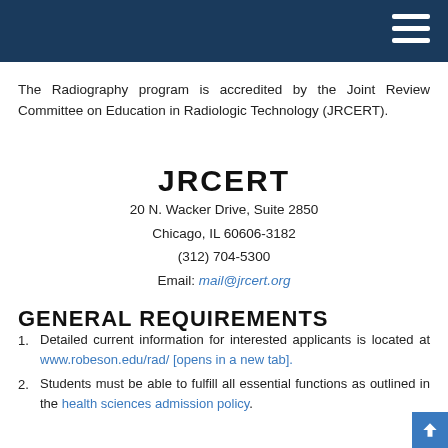The Radiography program is accredited by the Joint Review Committee on Education in Radiologic Technology (JRCERT).
JRCERT
20 N. Wacker Drive, Suite 2850
Chicago, IL 60606-3182
(312) 704-5300
Email: mail@jrcert.org
GENERAL REQUIREMENTS
Detailed current information for interested applicants is located at www.robeson.edu/rad/ [opens in a new tab].
Students must be able to fulfill all essential functions as outlined in the health sciences admission policy.